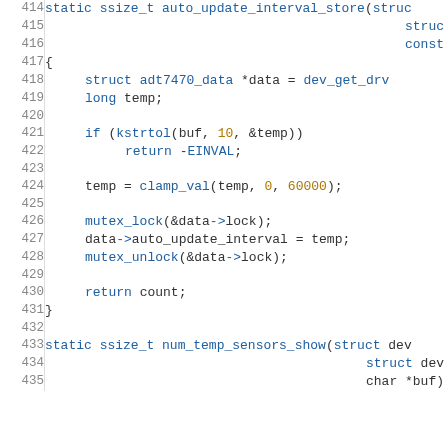[Figure (screenshot): Source code listing in C, lines 414–435, showing a function body with struct, mutex, and return statements. Syntax-highlighted in a code editor style with blue keywords, orange numbers, and grey line numbers.]